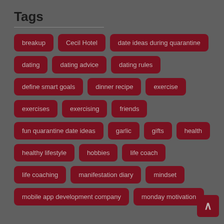Tags
breakup
Cecil Hotel
date ideas during quarantine
dating
dating advice
dating rules
define smart goals
dinner recipe
exercise
exercises
exercising
friends
fun quarantine date ideas
garlic
gifts
health
healthy lifestyle
hobbies
life coach
life coaching
manifestation diary
mindset
mobile app development company
monday motivation